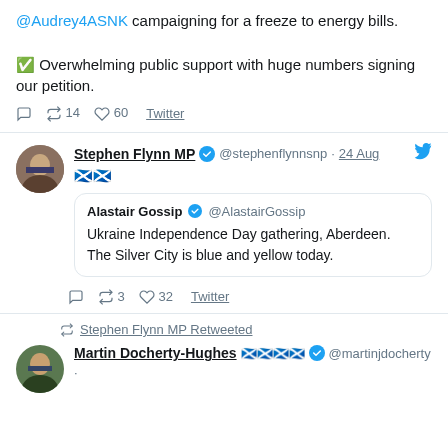@Audrey4ASNK campaigning for a freeze to energy bills.

✅ Overwhelming public support with huge numbers signing our petition.
↺ 14  ♡ 60  Twitter
Stephen Flynn MP ✓ @stephenflynnnsnp · 24 Aug
🏴󠁧󠁢󠁳󠁣󠁴󠁿🏴󠁧󠁢󠁳󠁣󠁴󠁿
Alastair Gossip ✓ @AlastairGossip
Ukraine Independence Day gathering, Aberdeen.
The Silver City is blue and yellow today.
↺ 3  ♡ 32  Twitter
↺ Stephen Flynn MP Retweeted
Martin Docherty-Hughes 🏴󠁧󠁢󠁳󠁣󠁴󠁿🏴󠁧󠁢󠁳󠁣󠁴󠁿🏴󠁧󠁢󠁳󠁣󠁴󠁿🏴󠁧󠁢󠁳󠁣󠁴󠁿 ✓ @martinjdocherty